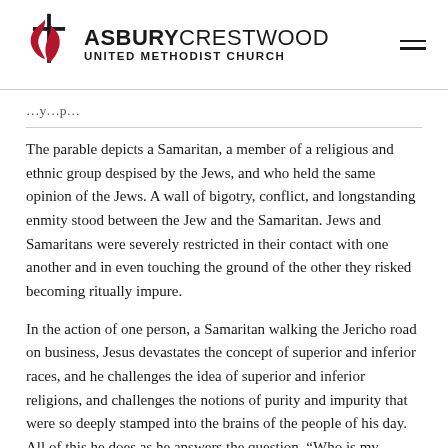ASBURY CRESTWOOD UNITED METHODIST CHURCH
The parable depicts a Samaritan, a member of a religious and ethnic group despised by the Jews, and who held the same opinion of the Jews. A wall of bigotry, conflict, and longstanding enmity stood between the Jew and the Samaritan. Jews and Samaritans were severely restricted in their contact with one another and in even touching the ground of the other they risked becoming ritually impure.
In the action of one person, a Samaritan walking the Jericho road on business, Jesus devastates the concept of superior and inferior races, and he challenges the idea of superior and inferior religions, and challenges the notions of purity and impurity that were so deeply stamped into the brains of the people of his day. All of this he does as he answers the question, “Who is my neighbor?”